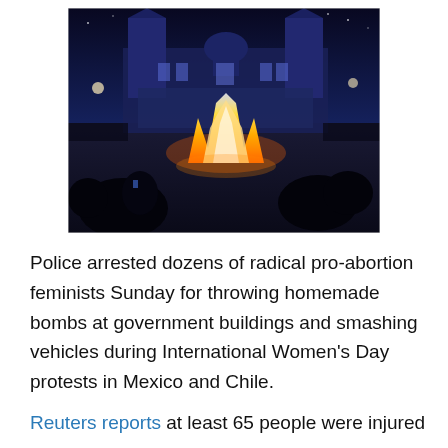[Figure (photo): Nighttime photo of a large fire burning in a plaza in front of a grand cathedral (likely the Metropolitan Cathedral in Mexico City's Zócalo). Crowds of people are silhouetted in the foreground watching the blaze.]
Police arrested dozens of radical pro-abortion feminists Sunday for throwing homemade bombs at government buildings and smashing vehicles during International Women's Day protests in Mexico and Chile.
Reuters reports at least 65 people were injured during the violence in Mexico City, including a few...